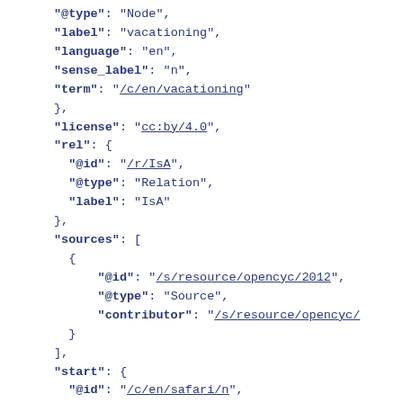JSON code snippet showing @type, label, language, sense_label, term fields for a node, followed by license, rel object with @id /r/IsA, @type Relation, label IsA, then sources array with @id /s/resource/opencyc/2012, @type Source, contributor /s/resource/opencyc/, then start object with @id /c/en/safari/n, @type Node, label safari, language en, sense_label n